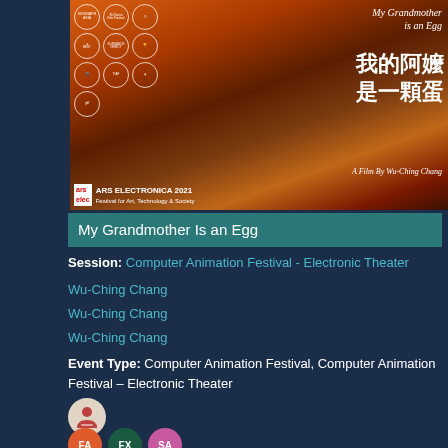[Figure (photo): Movie poster for 'My Grandmother Is an Egg' showing a painted face in warm orange/red tones with Chinese characters, Ars Electronica 2021 badge, and multiple film festival laurels]
My Grandmother Is an Egg
Session: Computer Animation Festival - Electronic Theater
Wu-Ching Chang
Wu-Ching Chang
Wu-Ching Chang
Event Type: Computer Animation Festival, Computer Animation Festival – Electronic Theater
[Figure (logo): Person/presenter icon in a circular badge with reddish-orange background]
[Figure (logo): Three circular badges labeled FA, FX, SA in orange, dark green, and pink respectively]